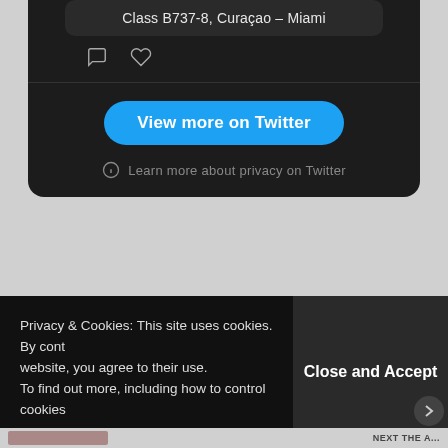Class B737-8, Curaçao – Miami
[Figure (screenshot): Twitter embed showing View more on Twitter button and privacy link]
Advertisements
[Figure (screenshot): Advertisement banner with red background and circular logo]
Privacy & Cookies: This site uses cookies. By continuing to use this website, you agree to their use.
To find out more, including how to control cookies,
Close and Accept